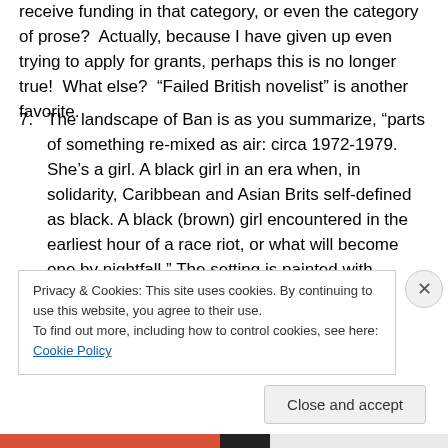receive funding in that category, or even the category of prose?  Actually, because I have given up even trying to apply for grants, perhaps this is no longer true!  What else?  “Failed British novelist” is another favorite.
7. The landscape of Ban is as you summarize, “parts of something re-mixed as air: circa 1972-1979. She’s a girl. A black girl in an era when, in solidarity, Caribbean and Asian Brits self-defined as black. A black (brown) girl encountered in the earliest hour of a race riot, or what will become one by nightfall.” The setting is painted with strokes of compassion that hurt hard:
Privacy & Cookies: This site uses cookies. By continuing to use this website, you agree to their use.
To find out more, including how to control cookies, see here: Cookie Policy
Close and accept